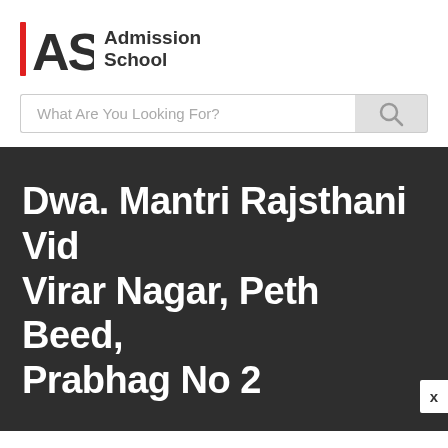[Figure (logo): Admission School logo: red vertical bar, stylized 'AS' letters in dark gray, and 'Admission School' text in bold dark gray]
What Are You Looking For?
Dwa. Mantri Rajsthani Vid Virar Nagar, Peth Beed, Prabhag No 2